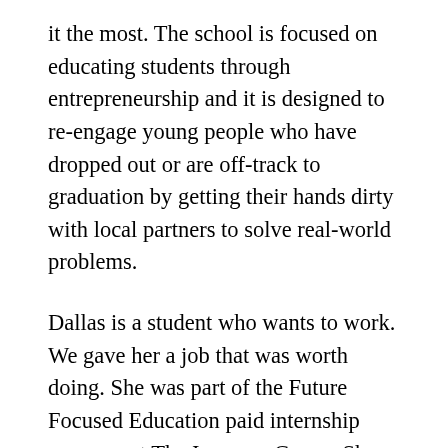it the most. The school is focused on educating students through entrepreneurship and it is designed to re-engage young people who have dropped out or are off-track to graduation by getting their hands dirty with local partners to solve real-world problems.
Dallas is a student who wants to work. We gave her a job that was worth doing. She was part of the Future Focused Education paid internship program at The Improve Group. She had a mentor and a lot of different work experiences that have been super valuable to her growth as a young leader. I attended her exhibition where she presented what she had learned from her internship to her teachers and co-workers.